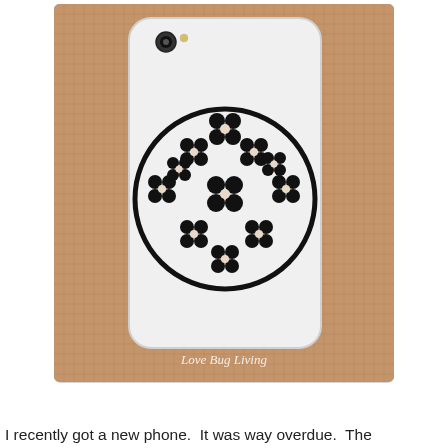[Figure (photo): Photo of a white iPhone case with a black floral pattern (flowers arranged in a circle) placed on a burlap/woven fabric background. The watermark 'Love Bug Living' appears at the bottom of the image.]
I recently got a new phone.  It was way overdue.  The